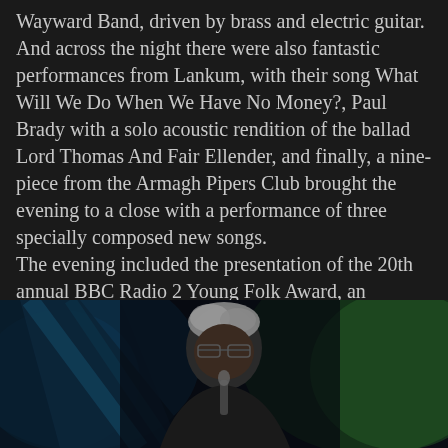Wayward Band, driven by brass and electric guitar. And across the night there were also fantastic performances from Lankum, with their song What Will We Do When We Have No Money?, Paul Brady with a solo acoustic rendition of the ballad Lord Thomas And Fair Ellender, and finally, a nine-piece from the Armagh Pipers Club brought the evening to a close with a performance of three specially composed new songs. The evening included the presentation of the 20th annual BBC Radio 2 Young Folk Award, an educational contest that exists to discover the next generation of folk acts. Mera Royle, a young harpist from the Isle of Man, was the recipient.
[Figure (photo): A person with white/grey hair and glasses photographed on a dark stage with blue and green lighting behind them, holding what appears to be a microphone.]